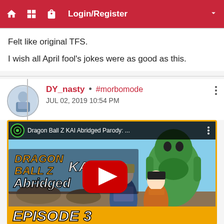Login/Register
Felt like original TFS.
I wish all April fool's jokes were as good as this.
DY_nasty • #morbomode
JUL 02, 2019 10:54 PM
[Figure (screenshot): YouTube video thumbnail for Dragon Ball Z KAI Abridged Parody episode 3, showing animated characters Android 18, Android 17, and Cell, with a YouTube play button overlay. Orange border frame. Episode 3 text at bottom.]